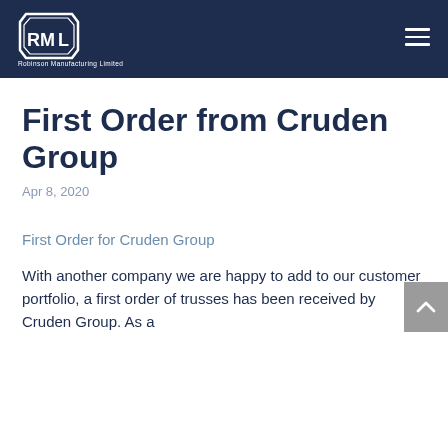Robinson Manufacturing Limited — navigation header with logo and hamburger menu
First Order from Cruden Group
Apr 8, 2020
First Order for Cruden Group
With another company we are happy to add to our customer portfolio, a first order of trusses has been received by Cruden Group. As a